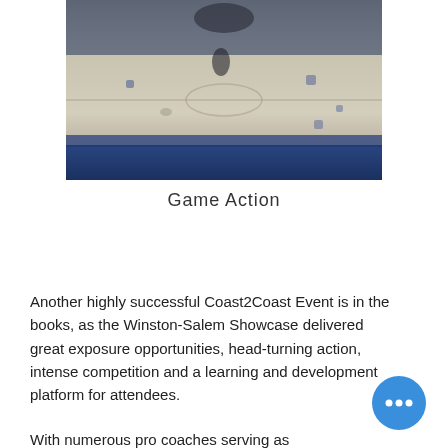[Figure (photo): Blurred basketball court photo showing blue and cream/white floor markings with players in background, top portion of image]
Game Action
Another highly successful Coast2Coast Event is in the books, as the Winston-Salem Showcase delivered great exposure opportunities, head-turning action, intense competition and a learning and development platform for attendees.
With numerous pro coaches serving as